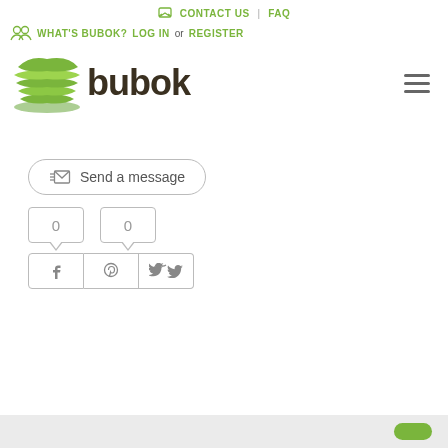CONTACT US | FAQ
WHAT'S BUBOK? LOG IN or REGISTER
[Figure (logo): Bubok logo with green stacked pages icon and dark brown 'bubok' text]
Send a message
[Figure (infographic): Social share counters showing 0 for Facebook and 0 for Pinterest, with Facebook, Pinterest, and Twitter icon buttons below]